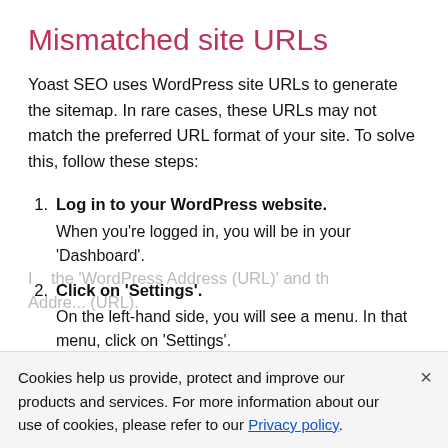Mismatched site URLs
Yoast SEO uses WordPress site URLs to generate the sitemap. In rare cases, these URLs may not match the preferred URL format of your site. To solve this, follow these steps:
Log in to your WordPress website. When you're logged in, you will be in your 'Dashboard'.
Click on 'Settings'. On the left-hand side, you will see a menu. In that menu, click on 'Settings'.
Cookies help us provide, protect and improve our products and services. For more information about our use of cookies, please refer to our Privacy policy.